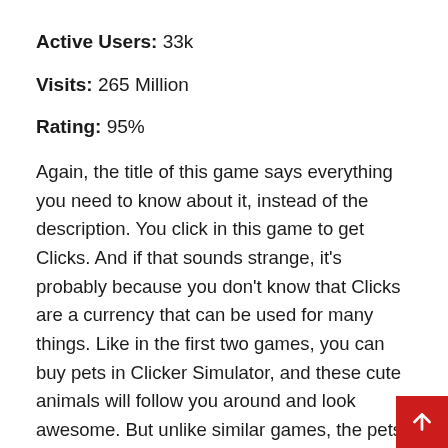Active Users: 33k
Visits: 265 Million
Rating: 95%
Again, the title of this game says everything you need to know about it, instead of the description. You click in this game to get Clicks. And if that sounds strange, it's probably because you don't know that Clicks are a currency that can be used for many things. Like in the first two games, you can buy pets in Clicker Simulator, and these cute animals will follow you around and look awesome. But unlike similar games, the pets in this one are mostly for looks and give bonuses when worn, but they don't do much on their own.